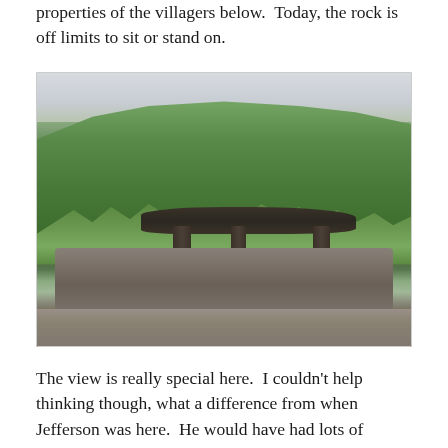properties of the villagers below.  Today, the rock is off limits to sit or stand on.
[Figure (photo): A large flat rock with a wooden shelter/gazebo structure on top, surrounded by dense green forested hillside in the background. The rock appears to be a significant geological feature in a natural park setting.]
The view is really special here.  I couldn't help thinking though, what a difference from when Jefferson was here.  He would have had lots of